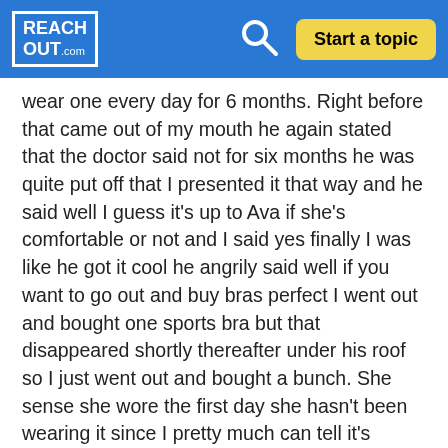REACHOUT.COM — Start a topic
wear one every day for 6 months. Right before that came out of my mouth he again stated that the doctor said not for six months he was quite put off that I presented it that way and he said well I guess it's up to Ava if she's comfortable or not and I said yes finally I was like he got it cool he angrily said well if you want to go out and buy bras perfect I went out and bought one sports bra but that disappeared shortly thereafter under his roof so I just went out and bought a bunch. She sense she wore the first day she hasn't been wearing it since I pretty much can tell it's because her dad said something but I don't know for sure. I'm so sorry this is long-winded. I literally have no other parents to talk to. Here's the points that I need help with my daughter has been telling me for two years that